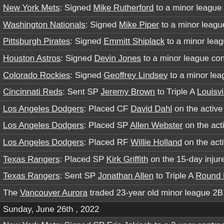New York Mets: Signed Mike Rutherford to a minor league contract with a
Washington Nationals: Signed Mike Piper to a minor league contract with
Pittsburgh Pirates: Signed Emmitt Shiplack to a minor league contract with
Houston Astros: Signed Devin Jones to a minor league contract with a sig
Colorado Rockies: Signed Geoffrey Lindsey to a minor league contract w
Cincinnati Reds: Sent SP Jeremy Brown to Triple A Louisville for injury reh
Los Angeles Dodgers: Placed CF David Dahl on the active roster.
Los Angeles Dodgers: Placed SP Allen Webster on the active roster.
Los Angeles Dodgers: Placed RF Willie Holland on the active roster.
Texas Rangers: Placed SP Kirk Griffith on the 15-day injured list, retroacti
Texas Rangers: Sent SP Jonathan Allen to Triple A Round Rock for injury r
The Vancouver Aurora traded 23-year old minor league 2B Duane Hall to
Sunday, June 26th , 2022
New York Mets: Signed SP Eric Jokisch to a 3-year contract extension wor
Los Angeles Dodgers: Claimed RF Willie Holland off waivers from Toronto
Toronto Blue Jays: Signed Randall Colwill to a minor league contract with
Seattle Mariners: Signed Chris Hall to a minor league contract with a sign
Vancouver Aurora: Signed Ben Anderson to a minor league contract with
Pittsburgh Pirates: Signed Esteban Vásquez to a minor league contract w
Houston Astros: Signed Josh Damron to a minor league contract with a si